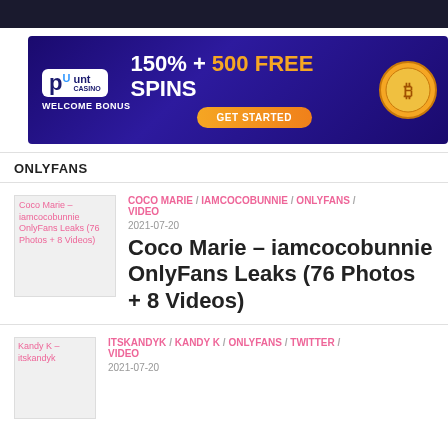[Figure (other): Dark top navigation bar]
[Figure (other): Punt Casino advertisement banner: 150% + 500 FREE SPINS, WELCOME BONUS, GET STARTED button]
ONLYFANS
[Figure (other): Coco Marie – iamcocobunnie OnlyFans Leaks thumbnail (broken image)]
COCO MARIE / IAMCOCOBUNNIE / ONLYFANS / VIDEO
2021-07-20
Coco Marie – iamcocobunnie OnlyFans Leaks (76 Photos + 8 Videos)
[Figure (other): Kandy K – itskandyk thumbnail (broken image)]
ITSKANDYK / KANDY K / ONLYFANS / TWITTER / VIDEO
2021-07-20